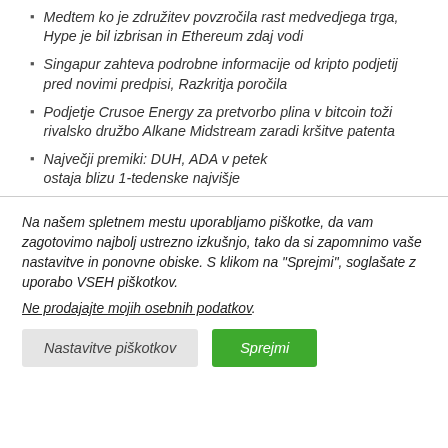Medtem ko je združitev povzročila rast medvedjega trga, Hype je bil izbrisan in Ethereum zdaj vodi
Singapur zahteva podrobne informacije od kripto podjetij pred novimi predpisi, Razkritja poročila
Podjetje Crusoe Energy za pretvorbo plina v bitcoin toži rivalsko družbo Alkane Midstream zaradi kršitve patenta
Največji premiki: DUH, ADA v petek ostaja blizu 1-tedenske najvišje
Na našem spletnem mestu uporabljamo piškotke, da vam zagotovimo najbolj ustrezno izkušnjo, tako da si zapomnimo vaše nastavitve in ponovne obiske. S klikom na "Sprejmi", soglašate z uporabo VSEH piškotkov.
Ne prodajajte mojih osebnih podatkov.
Nastavitve piškotkov
Sprejmi